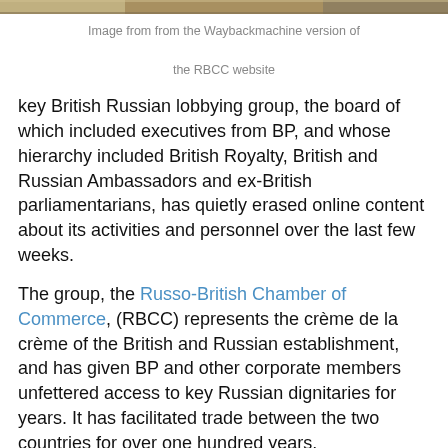[Figure (photo): Partial photo strip at the top of the page showing people in a room, appears to be a meeting or event scene.]
Image from from the Waybackmachine version of the RBCC website
key British Russian lobbying group, the board of which included executives from BP, and whose hierarchy included British Royalty, British and Russian Ambassadors and ex-British parliamentarians, has quietly erased online content about its activities and personnel over the last few weeks.
The group, the Russo-British Chamber of Commerce, (RBCC) represents the crème de la crème of the British and Russian establishment, and has given BP and other corporate members unfettered access to key Russian dignitaries for years. It has facilitated trade between the two countries for over one hundred years.